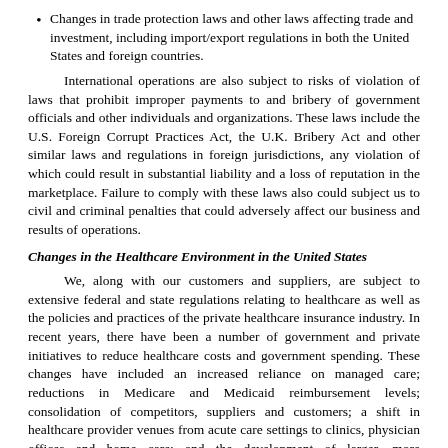Changes in trade protection laws and other laws affecting trade and investment, including import/export regulations in both the United States and foreign countries.
International operations are also subject to risks of violation of laws that prohibit improper payments to and bribery of government officials and other individuals and organizations. These laws include the U.S. Foreign Corrupt Practices Act, the U.K. Bribery Act and other similar laws and regulations in foreign jurisdictions, any violation of which could result in substantial liability and a loss of reputation in the marketplace. Failure to comply with these laws also could subject us to civil and criminal penalties that could adversely affect our business and results of operations.
Changes in the Healthcare Environment in the United States
We, along with our customers and suppliers, are subject to extensive federal and state regulations relating to healthcare as well as the policies and practices of the private healthcare insurance industry. In recent years, there have been a number of government and private initiatives to reduce healthcare costs and government spending. These changes have included an increased reliance on managed care; reductions in Medicare and Medicaid reimbursement levels; consolidation of competitors, suppliers and customers; a shift in healthcare provider venues from acute care settings to clinics, physician offices and home care; and the development of larger, more sophisticated purchasing groups. All of these changes place additional financial pressure on healthcare provider customers, who in turn seek to reduce the costs and pricing of products and services provided by us. We expect the healthcare industry to continue to change significantly and these potential changes, which may include a reduction in government support of healthcare services, adverse changes in legislation or